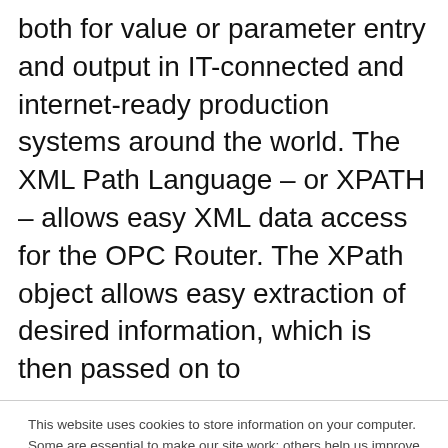both for value or parameter entry and output in IT-connected and internet-ready production systems around the world. The XML Path Language – or XPATH – allows easy XML data access for the OPC Router. The XPath object allows easy extraction of desired information, which is then passed on to
This website uses cookies to store information on your computer. Some are essential to make our site work; others help us improve your user experience by helping us understand how people navigate the site, helping us to make changes so you can find what you're looking for faster. By continuing to browse this site, we assume your consent to our usage. To find out more visit our Privacy Policy.
If you decline, your information will not be tracked when you visit this website. A single cookie will be used in your browser to remember your preference not to be tracked.